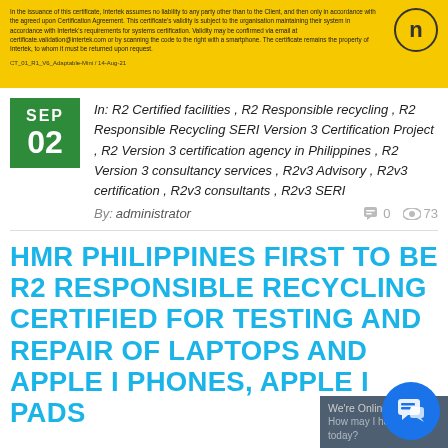In the issuance of this certificate, Intertek assumes no liability to any party other than to the Client, and then only in accordance with the agreed upon Certification Agreement. This certificate's validity is subject to the organisation maintaining their system in accordance with Intertek's requirements for systems certification. Validity may be confirmed via email at certificate.validation@intertek.com or by scanning the code to the right with a smartphone. The certificate remains the property of Intertek, to whom it must be returned upon request. CT_01_R1_V6_Adaptable-Mini / 14-Aug-21
In: R2 Certified facilities , R2 Responsible recycling , R2 Responsible Recycling SERI Version 3 Certification Project , R2 Version 3 certification agency in Philippines , R2 Version 3 consultancy services , R2v3 Advisory , R2v3 certification , R2v3 consultants , R2v3 SERI
By: administrator   0   73
HMR PHILIPPINES FIRST TO BE R2 RESPONSIBLE RECYCLING CERTIFIED FOR TESTING AND REPAIR OF LAPTOPS AND APPLE I PHONES, APPLE I PADS